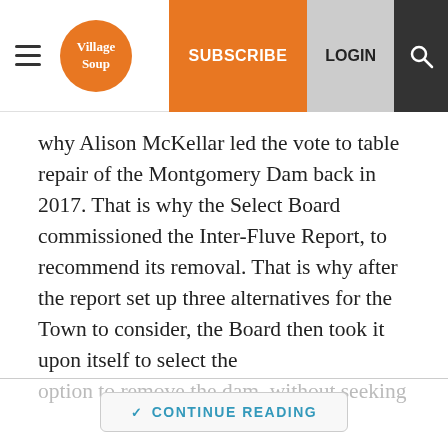Village Soup | SUBSCRIBE | LOGIN
why Alison McKellar led the vote to table repair of the Montgomery Dam back in 2017. That is why the Select Board commissioned the Inter-Fluve Report, to recommend its removal. That is why after the report set up three alternatives for the Town to consider, the Board then took it upon itself to select the option to remove the dam, without seeking
CONTINUE READING